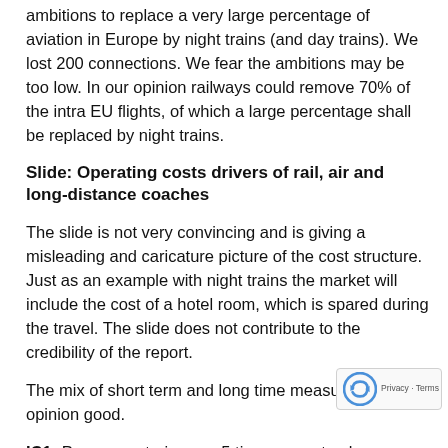ambitions to replace a very large percentage of aviation in Europe by night trains (and day trains). We lost 200 connections. We fear the ambitions may be too low. In our opinion railways could remove 70% of the intra EU flights, of which a large percentage shall be replaced by night trains.
Slide: Operating costs drivers of rail, air and long-distance coaches
The slide is not very convincing and is giving a misleading and caricature picture of the cost structure. Just as an example with night trains the market will include the cost of a hotel room, which is spared during the travel. The slide does not contribute to the credibility of the report.
The mix of short term and long time measures is in our opinion good.
IC1: Passenger trains pay 5 times more track access charges